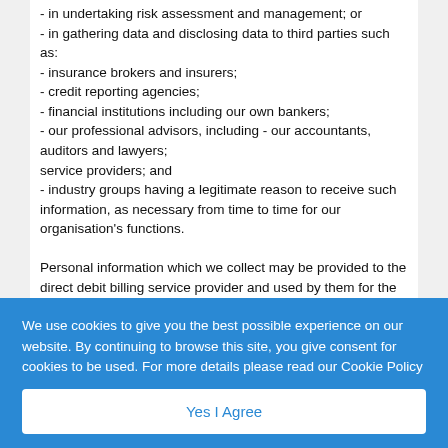- in undertaking risk assessment and management; or
- in gathering data and disclosing data to third parties such as:
- insurance brokers and insurers;
- credit reporting agencies;
- financial institutions including our own bankers;
- our professional advisors, including - our accountants, auditors and lawyers;
service providers; and
- industry groups having a legitimate reason to receive such information, as necessary from time to time for our organisation's functions.

Personal information which we collect may be provided to the direct debit billing service provider and used by them for the purpose of assisting to service its products and for
We use cookies to give you the best possible experience on our website. By continuing to browse this site, you give consent for cookies to be used. For more details please read our Cookie Policy
Yes I Agree